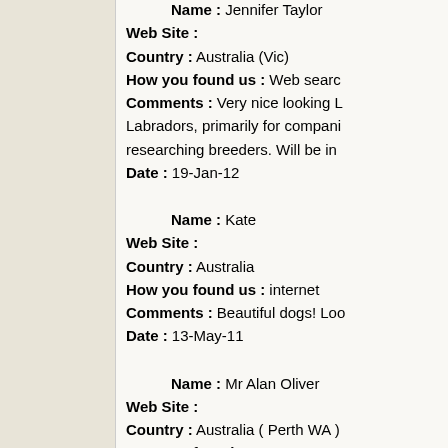Name : Jennifer Taylor
Web Site :
Country : Australia (Vic)
How you found us : Web search
Comments : Very nice looking Labradors, primarily for companionship, researching breeders. Will be in
Date : 19-Jan-12
Name : Kate
Web Site :
Country : Australia
How you found us : internet
Comments : Beautiful dogs! Loo
Date : 13-May-11
Name : Mr Alan Oliver
Web Site :
Country : Australia ( Perth WA )
How you found us : Internet &
Comments : As Guide dog Puppy walkers we have friends in tassie and we are due
Date : 8-Aug-10